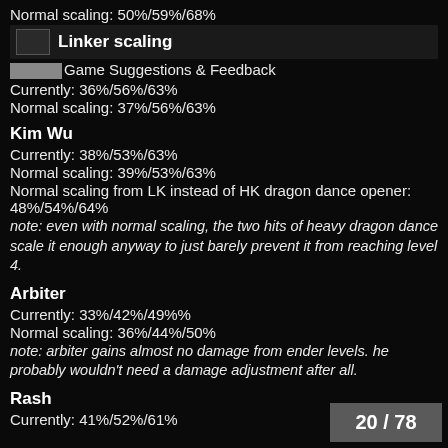Normal scaling: 50%/59%/68%
Linker scaling
Agunc Game Suggestions & Feedback
Currently: 36%/56%/63%
Normal scaling: 37%/56%/63%
Kim Wu
Currently: 38%/53%/63%
Normal scaling: 39%/53%/63%
Normal scaling from LK instead of HK dragon dance opener: 48%/54%/64%
note: even with normal scaling, the two hits of heavy dragon dance scale it enough anyway to just barely prevent it from reaching level 4.
Arbiter
Currently: 33%/42%/49%%
Normal scaling: 36%/44%/50%
note: arbiter gains almost no damage from ender levels. he probably wouldn't need a damage adjustment after all.
Rash
Currently: 41%/52%/61%
20 / 78